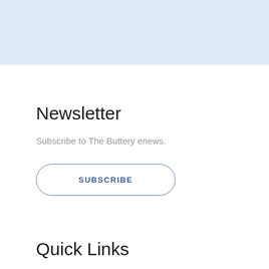[Figure (other): Light blue banner area at top of page]
Newsletter
Subscribe to The Buttery enews.
SUBSCRIBE
Quick Links